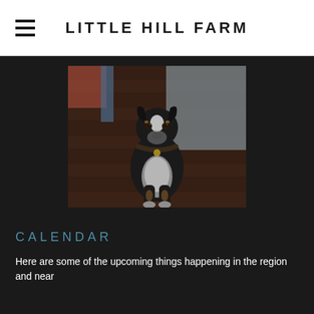LITTLE HILL FARM
[Figure (photo): A black, white and tan dog sitting on a wet wooden deck, wearing a collar with a tag. Background shows a blurred outdoor area.]
CALENDAR
Here are some of the upcoming things happening in the region and near